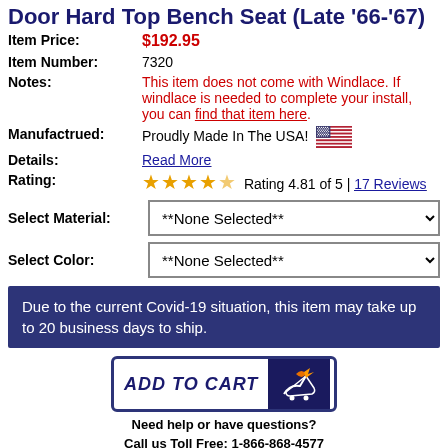Door Hard Top Bench Seat (Late '66-'67)
Item Price: $192.95
Item Number: 7320
Notes: This item does not come with Windlace. If windlace is needed to complete your install, you can find that item here.
Manufactrued: Proudly Made In The USA!
Details: Read More
Rating: Rating 4.81 of 5 | 17 Reviews
Select Material: **None Selected**
Select Color: **None Selected**
Due to the current Covid-19 situation, this item may take up to 20 business days to ship.
ADD TO CART
Need help or have questions?
Call us Toll Free: 1-866-868-4577